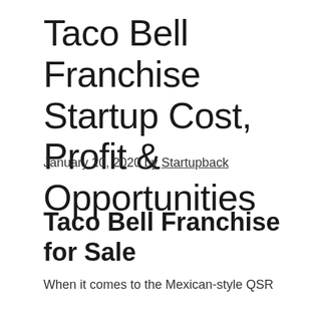Taco Bell Franchise Startup Cost, Profit & Opportunities
January 20, 2020 by Startupback
Taco Bell Franchise for Sale
When it comes to the Mexican-style QSR